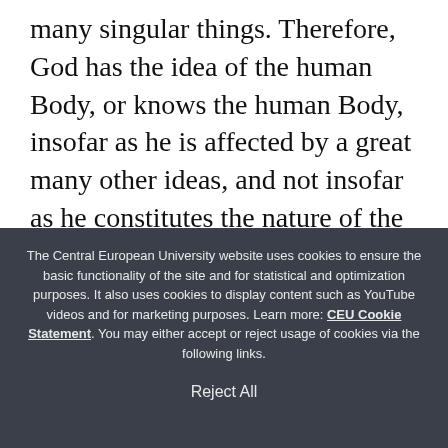many singular things. Therefore, God has the idea of the human Body, or knows the human Body, insofar as he is affected by a great many other ideas, and not insofar as he constitutes the nature of the human Mind, i.e. (by E2P11C), the human Mind does not know the human Body. But the ideas of affections of the Body are in God insofar as he constitutes the nature of the human Mind, or the human Mind perceives the
The Central European University website uses cookies to ensure the basic functionality of the site and for statistical and optimization purposes. It also uses cookies to display content such as YouTube videos and for marketing purposes. Learn more: CEU Cookie Statement. You may either accept or reject usage of cookies via the following links.
Reject All